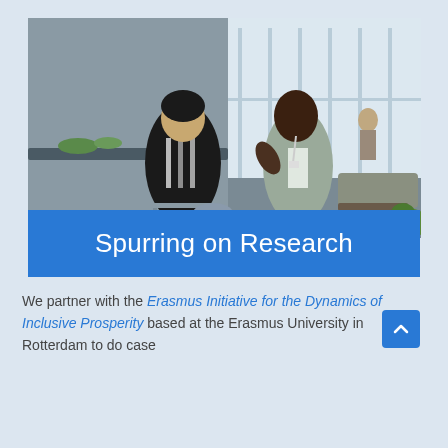[Figure (photo): Two people sitting across from each other in a modern lounge/meeting space, engaged in conversation. One person wears a black shirt and the other a light grey blazer. Background shows large windows and lounge furniture.]
Spurring on Research
We partner with the Erasmus Initiative for the Dynamics of Inclusive Prosperity based at the Erasmus University in Rotterdam to do case